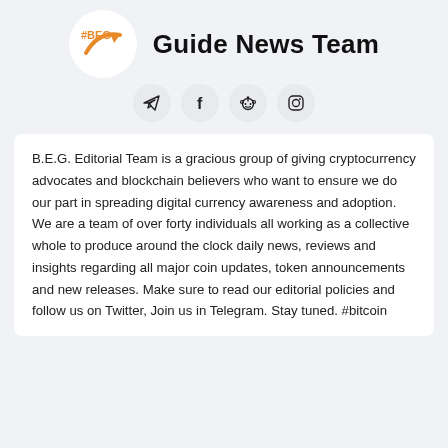Guide News Team
[Figure (logo): Orange arrow/rocket logo inside a white circle]
[Figure (infographic): Social media icons row: Telegram, Facebook, Reddit, Instagram — each in a light grey circle]
B.E.G. Editorial Team is a gracious group of giving cryptocurrency advocates and blockchain believers who want to ensure we do our part in spreading digital currency awareness and adoption. We are a team of over forty individuals all working as a collective whole to produce around the clock daily news, reviews and insights regarding all major coin updates, token announcements and new releases. Make sure to read our editorial policies and follow us on Twitter, Join us in Telegram. Stay tuned. #bitcoin